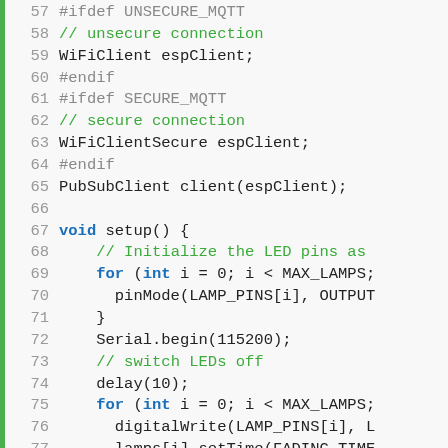[Figure (screenshot): Code editor screenshot showing lines 57–80 of an Arduino/C++ source file with syntax highlighting. Green left border, gray line numbers, blue keywords, green comments, black code.]